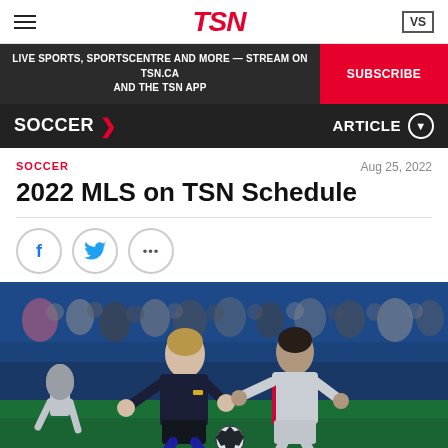TSN
LIVE SPORTS, SPORTSCENTRE AND MORE — STREAM ON TSN.CA AND THE TSN APP
SUBSCRIBE
SOCCER
ARTICLE
SOCCER
Aug 25, 2022
2022 MLS on TSN Schedule
[Figure (photo): Two soccer players competing for the ball — one in a black uniform, one in a white uniform — during an MLS match at night in a stadium.]